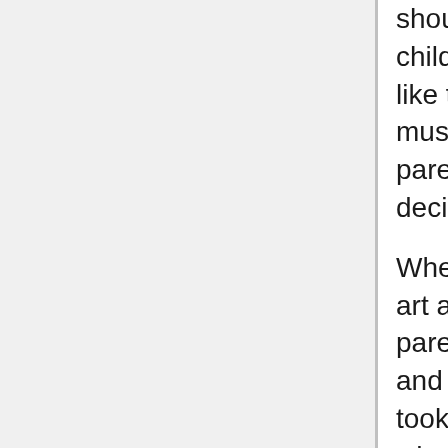shouldn't see. That means that whenever their child might be exposed to something offensive, like the nude statues at the museum, teachers must notify that child's parents, so that the parent can make an informed, responsible decision.
When Ms. McGee allowed students to see nude art at the museum, without informing their parents of it, she failed in her duty as a teacher and betrayed those parents' trust. She took away those parent's right to decide what's appropriate for you to see; it was disrespectful and irresponsible. Our school's greatest asset is that parents can trust our judgment when it comes their children's safety, both physical and emotional. When she showed you nude artworks, Ms. McGee lost